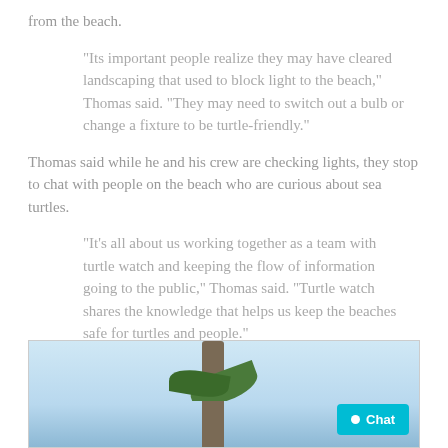from the beach.
"Its important people realize they may have cleared landscaping that used to block light to the beach," Thomas said. "They may need to switch out a bulb or change a fixture to be turtle-friendly."
Thomas said while he and his crew are checking lights, they stop to chat with people on the beach who are curious about sea turtles.
"It's all about us working together as a team with turtle watch and keeping the flow of information going to the public," Thomas said. "Turtle watch shares the knowledge that helps us keep the beaches safe for turtles and people."
[Figure (photo): Beach scene with palm tree trunk and leaves against a light blue sky]